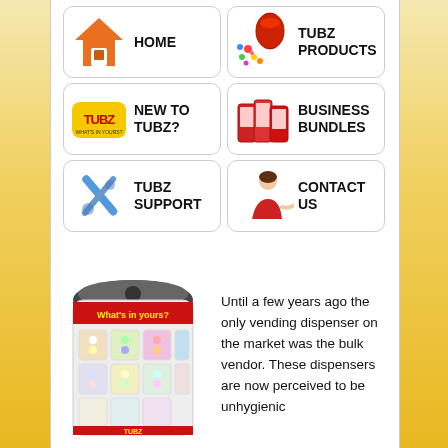[Figure (infographic): Navigation menu buttons: HOME (orange house icon), TUBZ PRODUCTS (candy jar), NEW TO TUBZ? (Tubz logo), BUSINESS BUNDLES (vending machines), TUBZ SUPPORT (wrench/screwdriver), CONTACT US (woman in red)]
[Figure (photo): Tubz vending dispenser machine with 'What's in yours?' banner, filled with colorful candy tubes]
Until a few years ago the only vending dispenser on the market was the bulk vendor. These dispensers are now perceived to be unhygienic